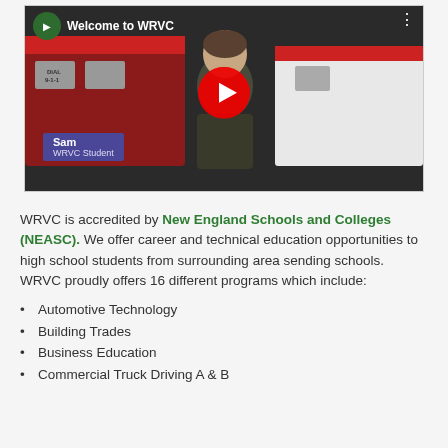[Figure (screenshot): YouTube video thumbnail titled 'Welcome to WRVC' showing a student named Sam (WRVC Student) standing in front of fire trucks and an ambulance, with a red YouTube play button overlay and WRVC logo in the top left corner.]
WRVC is accredited by New England Schools and Colleges (NEASC). We offer career and technical education opportunities to high school students from surrounding area sending schools. WRVC proudly offers 16 different programs which include:
Automotive Technology
Building Trades
Business Education
Commercial Truck Driving A & B